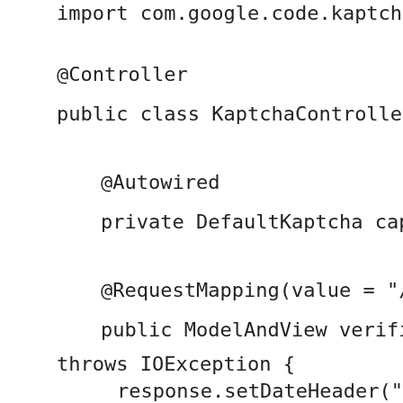import com.google.code.kaptcha.Producer;
@Controller
public class KaptchaController {
@Autowired
private DefaultKaptcha captchaProducer;
@RequestMapping(value = "/captchaImage", m
public ModelAndView verification(HttpServletR
throws IOException {
response.setDateHeader("Expires", 0);
response.setHeader("Cache-Control", "no-s